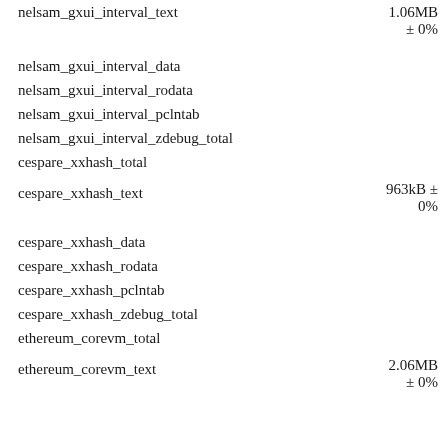nelsam_gxui_interval_text
1.06MB ± 0%
nelsam_gxui_interval_data
nelsam_gxui_interval_rodata
nelsam_gxui_interval_pclntab
nelsam_gxui_interval_zdebug_total
cespare_xxhash_total
cespare_xxhash_text
963kB ± 0%
cespare_xxhash_data
cespare_xxhash_rodata
cespare_xxhash_pclntab
cespare_xxhash_zdebug_total
ethereum_corevm_total
ethereum_corevm_text
2.06MB ± 0%
ethereum_corevm_data
ethereum_corevm_rodata
ethereum_corevm_pclntab
ethereum_corevm_zdebug_total
k8s_cache_total
k8s_cache_text
6.83MB ± 0%
k8s_cache_data